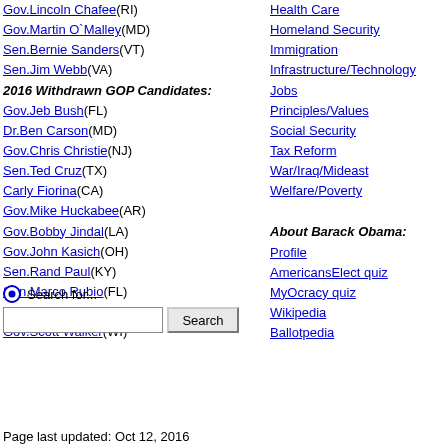Gov.Lincoln Chafee(RI)
Gov.Martin O`Malley(MD)
Sen.Bernie Sanders(VT)
Sen.Jim Webb(VA)
2016 Withdrawn GOP Candidates:
Gov.Jeb Bush(FL)
Dr.Ben Carson(MD)
Gov.Chris Christie(NJ)
Sen.Ted Cruz(TX)
Carly Fiorina(CA)
Gov.Mike Huckabee(AR)
Gov.Bobby Jindal(LA)
Gov.John Kasich(OH)
Sen.Rand Paul(KY)
Sen.Marco Rubio(FL)
Sen.Rick Santorum(PA)
Gov.Scott Walker(WI)
Health Care
Homeland Security
Immigration
Infrastructure/Technology
Jobs
Principles/Values
Social Security
Tax Reform
War/Iraq/Mideast
Welfare/Poverty
About Barack Obama:
Profile
AmericansElect quiz
MyOcracy quiz
Wikipedia
Ballotpedia
Page last updated: Oct 12, 2016